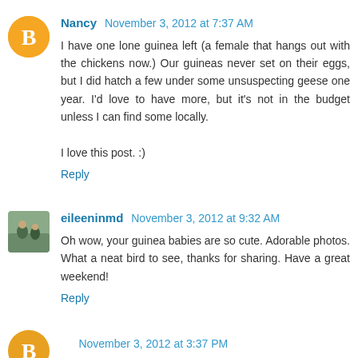Nancy November 3, 2012 at 7:37 AM
I have one lone guinea left (a female that hangs out with the chickens now.) Our guineas never set on their eggs, but I did hatch a few under some unsuspecting geese one year. I'd love to have more, but it's not in the budget unless I can find some locally.

I love this post. :)
Reply
eileeninmd November 3, 2012 at 9:32 AM
Oh wow, your guinea babies are so cute. Adorable photos. What a neat bird to see, thanks for sharing. Have a great weekend!
Reply